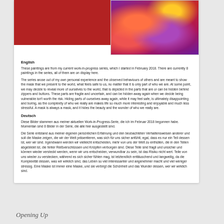[Figure (photo): Two paintings shown side by side. Left painting: solid red/dark red background. Right painting: richly colored abstract/figurative work with purple, orange, red, and yellow swirling forms on a red background.]
English
These paintings are from my current work-in-progress series, which I started in February 2018. There are currently 8 paintings in the series, all of them are on display here.
The series arose out of my own personal experience and the observed behaviours of others and are meant to show the mask that we present to the world, what feels safe to us, no matter that it is only part of who we are. At some point, we may decide to reveal more of ourselves to the world, that is depicted in the parts that are or can be hidden behind zippers and buttons. These parts are fragile and uncertain, and can be hidden away again when we decide being vulnerable isn't worth the risk. Hiding parts of ourselves away again, while it may feel safe, is ultimately disappointing and boring, as the complexity of who we really are makes life so much more interesting and enjoyable and much less stressful. A mask is always a mask, and it hides the beauty and the wonder of who we really are.
Deutsch
Diese Bilder stammen aus meiner aktuellen Work-in-Progress-Serie, die ich im Februar 2018 begonnen habe. Momentan sind 8 Bilder in der Serie, die alle hier ausgestellt sind.
Die Serie entstand aus meiner eigenen persönlichen Erfahrung und den beobachteten Verhaltensweisen anderer und soll die Maske zeigen, die wir der Welt präsentieren, was sich für uns sicher anfühlt, egal, dass es nur ein Teil dessen ist, wer wir sind. Irgendwann werden wir vielleicht entscheiden, mehr von uns der Welt zu enthüllen, die in den Teilen abgebildet ist, die hinter Reißverschlüssen und Knöpfen verborgen sind. Diese Teile sind fragil und unsicher und können wieder versteckt werden, wenn wir uns entscheiden, verwundbar zu sein, ist das Risiko nicht wert. Teile von uns wieder zu verstecken, während es sich sicher fühlen mag, ist letztendlich enttäuschend und langweilig, da die Komplexität dessen, was wir wirklich sind, das Leben so viel interessanter und angenehmer macht und viel weniger stressig. Eine Maske ist immer eine Maske, und sie verbirgt die Schönheit und das Wunder dessen, wer wir wirklich sind.
Opening Up